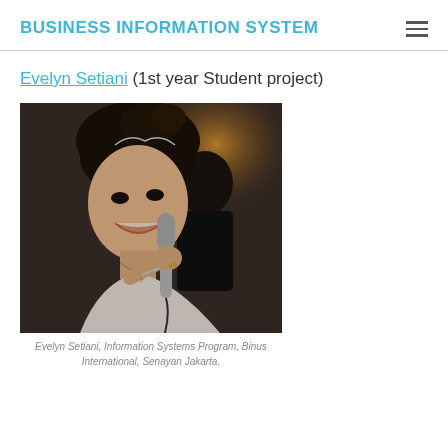BUSINESS INFORMATION SYSTEM
Evelyn Setiani (1st year Student project)
[Figure (photo): Photo of Evelyn Setiani holding a microphone, smiling, wearing a tiara and formal dress at what appears to be an event.]
Evelyn Setiani, Information Systems Program, Binus International, Senayan Jakarta.